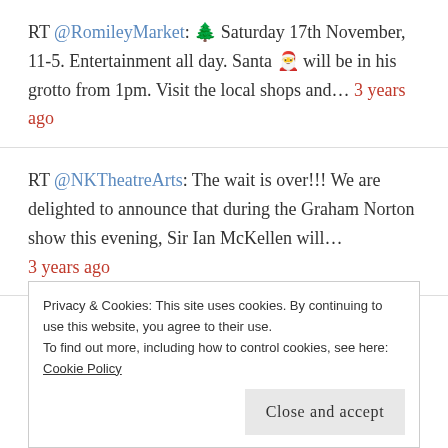RT @RomileyMarket: 🌲 Saturday 17th November, 11-5. Entertainment all day. Santa 🎅 will be in his grotto from 1pm. Visit the local shops and... 3 years ago
RT @NKTheatreArts: The wait is over!!! We are delighted to announce that during the Graham Norton show this evening, Sir Ian McKellen will... 3 years ago
Suns out, smiles out ☀️🐾 #stockport #romiley #bredbury #woodley https://t.co/7N2aaaioJJ
Privacy & Cookies: This site uses cookies. By continuing to use this website, you agree to their use. To find out more, including how to control cookies, see here: Cookie Policy. Close and accept